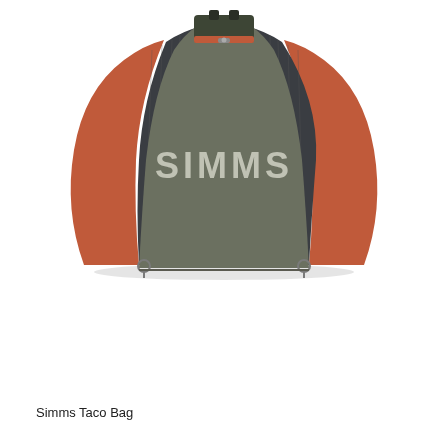[Figure (photo): A Simms Taco Bag shown from the front. The bag has a distinctive half-circle/taco shape with an olive/dark green main body fabric, dark charcoal mesh side panels on each side, and orange/salmon accent trim along the curved edges and at the top handle area. The SIMMS logo is printed in large silver/light grey letters across the front. There are small metal D-rings at the bottom corners and a zipper handle visible at the top.]
Simms Taco Bag